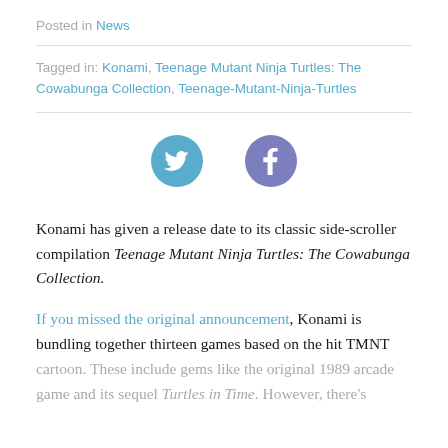Posted in News
Tagged in: Konami, Teenage Mutant Ninja Turtles: The Cowabunga Collection, Teenage-Mutant-Ninja-Turtles
[Figure (infographic): Twitter and Facebook share icon buttons. A blue circle with a white Twitter bird icon and a purple-blue circle with a white Facebook 'f' icon.]
Konami has given a release date to its classic side-scroller compilation Teenage Mutant Ninja Turtles: The Cowabunga Collection.
If you missed the original announcement, Konami is bundling together thirteen games based on the hit TMNT cartoon. These include gems like the original 1989 arcade game and its sequel Turtles in Time. However, there's